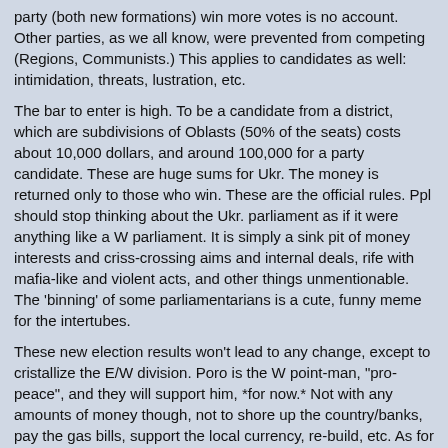party (both new formations) win more votes is no account. Other parties, as we all know, were prevented from competing (Regions, Communists.) This applies to candidates as well: intimidation, threats, lustration, etc.
The bar to enter is high. To be a candidate from a district, which are subdivisions of Oblasts (50% of the seats) costs about 10,000 dollars, and around 100,000 for a party candidate. These are huge sums for Ukr. The money is returned only to those who win. These are the official rules. Ppl should stop thinking about the Ukr. parliament as if it were anything like a W parliament. It is simply a sink pit of money interests and criss-crossing aims and internal deals, rife with mafia-like and violent acts, and other things unmentionable. The 'binning' of some parliamentarians is a cute, funny meme for the intertubes.
These new election results won't lead to any change, except to cristallize the E/W division. Poro is the W point-man, "pro-peace", and they will support him, *for now.* Not with any amounts of money though, not to shore up the country/banks, pay the gas bills, support the local currency, re-build, etc. As for joining the EU, this is a pipe-dream that was sold to naive Russophobes, Kiev twitter-types, languid hopefuls, those who follow power always (now Poro) and bloodthirsty neo-Nazis (as a pretense of least-bad on their part, they are not for US / EU domination or jewish oligarchs, etc.)